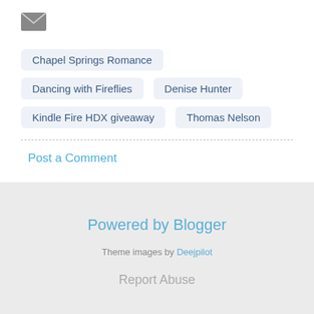[Figure (illustration): Small gray email envelope icon]
Chapel Springs Romance
Dancing with Fireflies
Denise Hunter
Kindle Fire HDX giveaway
Thomas Nelson
Post a Comment
Powered by Blogger
Theme images by Deejpilot
Report Abuse